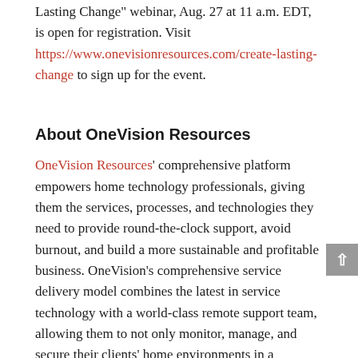Lasting Change" webinar, Aug. 27 at 11 a.m. EDT, is open for registration. Visit https://www.onevisionresources.com/create-lasting-change to sign up for the event.
About OneVision Resources
OneVision Resources' comprehensive platform empowers home technology professionals, giving them the services, processes, and technologies they need to provide round-the-clock support, avoid burnout, and build a more sustainable and profitable business. OneVision's comprehensive service delivery model combines the latest in service technology with a world-class remote support team, allowing them to not only monitor, manage, and secure their clients' home environments in a seamless manner, but scale